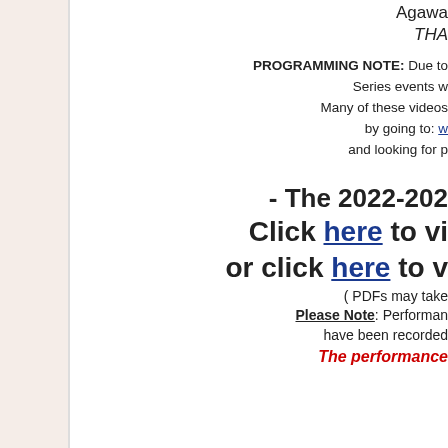Agawa... THA...
PROGRAMMING NOTE: Due to... Series events we... Many of these videos... by going to: w... and looking for p...
- The 2022-202... Click here to vi... or click here to v... ( PDFs may take ... Please Note: Performan... have been recorded... The performance...